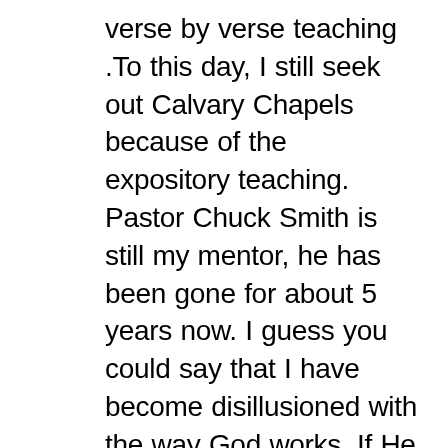verse by verse teaching .To this day, I still seek out Calvary Chapels because of the expository teaching. Pastor Chuck Smith is still my mentor, he has been gone for about 5 years now. I guess you could say that I have become disillusioned with the way God works. If He is a God of grace or not. Some things going on in my life have caused me to feel this way. I have been “on the waiting list” for over 17 years now, waiting for either a miracle or just for God to see my heart and